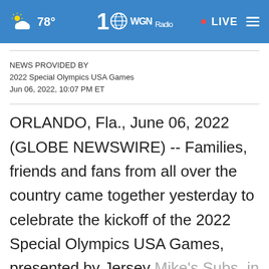78° WGN Radio · LIVE
NEWS PROVIDED BY
2022 Special Olympics USA Games
Jun 06, 2022, 10:07 PM ET
ORLANDO, Fla., June 06, 2022 (GLOBE NEWSWIRE) -- Families, friends and fans from all over the country came together yesterday to celebrate the kickoff of the 2022 Special Olympics USA Games, presented by Jersey Mike's Subs, in Orlando, Florida. More than 20,000 fans filled Exploria Stadium to cheer on